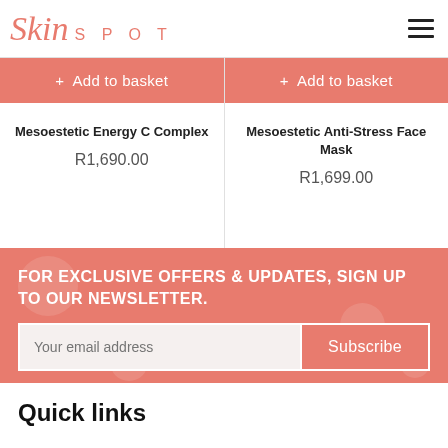[Figure (logo): Skin Spot logo with cursive 'Skin' in coral/salmon and 'SPOT' in spaced capitals]
+ Add to basket
+ Add to basket
Mesoestetic Energy C Complex
R1,690.00
Mesoestetic Anti-Stress Face Mask
R1,699.00
FOR EXCLUSIVE OFFERS & UPDATES, SIGN UP TO OUR NEWSLETTER.
Your email address
Subscribe
Quick links